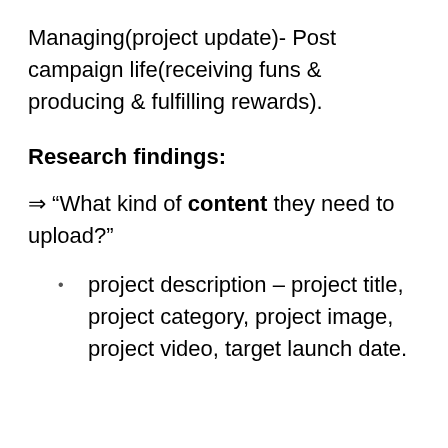Managing(project update)- Post campaign life(receiving funs & producing & fulfilling rewards).
Research findings:
⇒ “What kind of content they need to upload?”
project description – project title, project category, project image, project video, target launch date.